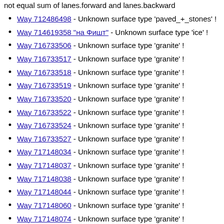not equal sum of lanes.forward and lanes.backward
Way 712486498 - Unknown surface type 'paved_+_stones' !
Way 714619358 "на Фишт" - Unknown surface type 'ice' !
Way 716733506 - Unknown surface type 'granite' !
Way 716733517 - Unknown surface type 'granite' !
Way 716733518 - Unknown surface type 'granite' !
Way 716733519 - Unknown surface type 'granite' !
Way 716733520 - Unknown surface type 'granite' !
Way 716733522 - Unknown surface type 'granite' !
Way 716733524 - Unknown surface type 'granite' !
Way 716733527 - Unknown surface type 'granite' !
Way 717148034 - Unknown surface type 'granite' !
Way 717148037 - Unknown surface type 'granite' !
Way 717148038 - Unknown surface type 'granite' !
Way 717148044 - Unknown surface type 'granite' !
Way 717148060 - Unknown surface type 'granite' !
Way 717148074 - Unknown surface type 'granite' !
Way 717269761 - Unknown surface type 'a' !
Way 717475385 - Unknown surface type 'granite' !
Way 717475394 - Unknown surface type 'granite' !
Way 717475398 - Unknown surface type 'granite' !
Way 717497901 - Unknown surface type 'granite' !
Way 717497902 - Unknown surface type 'granite' !
Way 717497906 - Unknown surface type 'granite' !
Way 717500312 - Unknown surface type 'granite' !
Way 718915393 - Unknown surface type 'granite' !